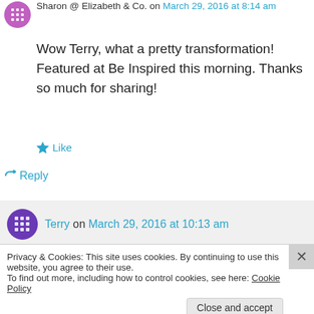Sharon @ Elizabeth & Co. on March 29, 2016 at 8:14 am
Wow Terry, what a pretty transformation! Featured at Be Inspired this morning. Thanks so much for sharing!
★ Like
↪ Reply
Terry on March 29, 2016 at 10:13 am
Privacy & Cookies: This site uses cookies. By continuing to use this website, you agree to their use.
To find out more, including how to control cookies, see here: Cookie Policy
Close and accept